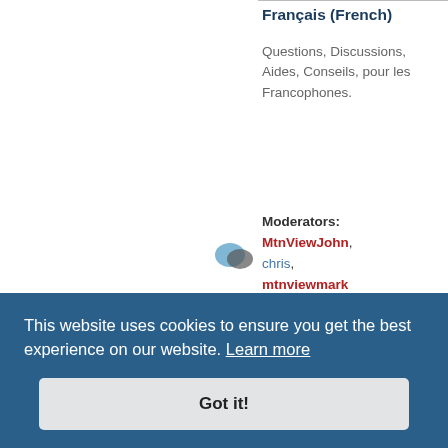Français (French)
Questions, Discussions, Aides, Conseils, pour les Francophones.
Moderators: MtnViewJohn, chris, mtnviewmark
Topics: 7
中文 (Chinese)
Moderators: MtnViewJohn, chris, mtnviewmark
Topics: 18
Русский (Russian)
This website uses cookies to ensure you get the best experience on our website. Learn more
Got it!